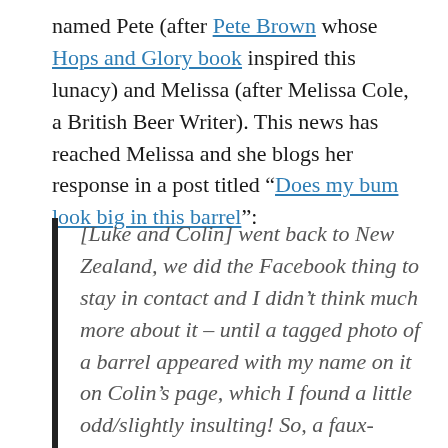named Pete (after Pete Brown whose Hops and Glory book inspired this lunacy) and Melissa (after Melissa Cole, a British Beer Writer). This news has reached Melissa and she blogs her response in a post titled “Does my bum look big in this barrel”:
[Luke and Colin] went back to New Zealand, we did the Facebook thing to stay in contact and I didn’t think much more about it – until a tagged photo of a barrel appeared with my name on it on Colin’s page, which I found a little odd/slightly insulting! So, a faux-indignant enquiry was made and I got back a very cryptic ‘you’ll have to wait